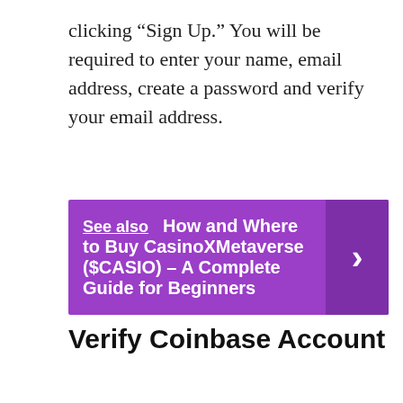clicking “Sign Up.” You will be required to enter your name, email address, create a password and verify your email address.
See also  How and Where to Buy CasinoXMetaverse ($CASIO) – A Complete Guide for Beginners
Verify Coinbase Account